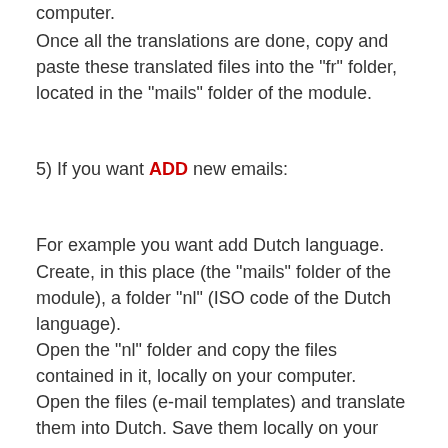computer.
Once all the translations are done, copy and paste these translated files into the "fr" folder, located in the "mails" folder of the module.
5) If you want ADD new emails:
For example you want add Dutch language. Create, in this place (the "mails" folder of the module), a folder "nl" (ISO code of the Dutch language).
Open the "nl" folder and copy the files contained in it, locally on your computer.
Open the files (e-mail templates) and translate them into Dutch. Save them locally on your computer.